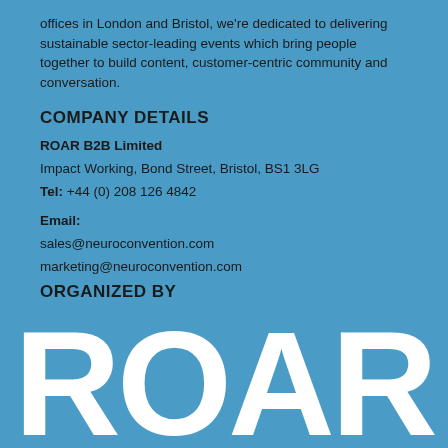offices in London and Bristol, we're dedicated to delivering sustainable sector-leading events which bring people together to build content, customer-centric community and conversation.
COMPANY DETAILS
ROAR B2B Limited
Impact Working, Bond Street, Bristol, BS1 3LG
Tel: +44 (0) 208 126 4842
Email:
sales@neuroconvention.com
marketing@neuroconvention.com
ORGANIZED BY
[Figure (logo): ROAR logo in large white bold letters at the bottom of the page]